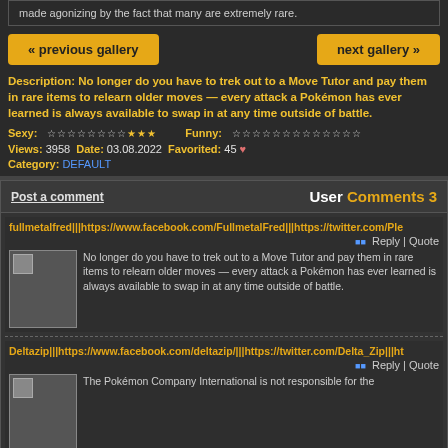made agonizing by the fact that many are extremely rare.
« previous gallery   next gallery »
Description: No longer do you have to trek out to a Move Tutor and pay them in rare items to relearn older moves — every attack a Pokémon has ever learned is always available to swap in at any time outside of battle.
Sexy: ☆☆☆☆☆☆☆☆★★★  Funny: ☆☆☆☆☆☆☆☆☆☆☆☆☆
Views: 3958 Date: 03.08.2022 Favorited: 45 ♥ Category: DEFAULT
User Comments 3
Post a comment
fullmetalfred|||https://www.facebook.com/FullmetalFred|||https://twitter.com/Ple
No longer do you have to trek out to a Move Tutor and pay them in rare items to relearn older moves — every attack a Pokémon has ever learned is always available to swap in at any time outside of battle.
Deltazip|||https://www.facebook.com/deltazip/|||https://twitter.com/Delta_Zip|||ht
The Pokémon Company International is not responsible for the